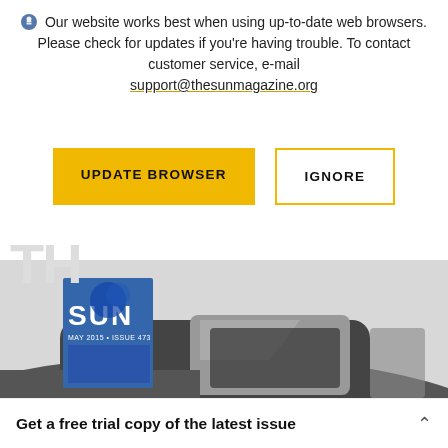Our website works best when using up-to-date web browsers. Please check for updates if you're having trouble. To contact customer service, e-mail support@thesunmagazine.org
UPDATE BROWSER
IGNORE
[Figure (photo): Black and white photograph of a vintage truck cab/roof, partially overlaid with a colorful magazine cover showing 'SUN MAY 2015 ISSUE 473']
Get a free trial copy of the latest issue